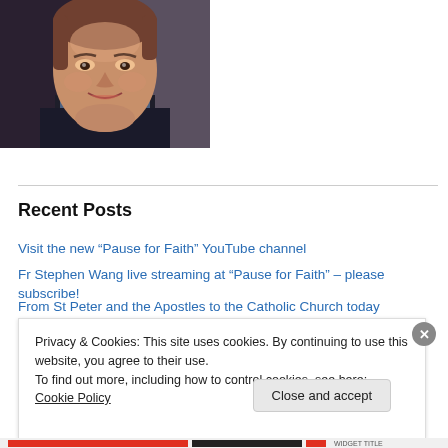[Figure (photo): Headshot photo of a man (Fr Stephen Wang) smiling, with short brown hair, wearing a dark jacket over a blue collar shirt. Photo cropped at approximately chest level.]
Recent Posts
Visit the new “Pause for Faith” YouTube channel
Fr Stephen Wang live streaming at “Pause for Faith” – please subscribe!
From St Peter and the Apostles to the Catholic Church today
Privacy & Cookies: This site uses cookies. By continuing to use this website, you agree to their use.
To find out more, including how to control cookies, see here: Cookie Policy
Close and accept